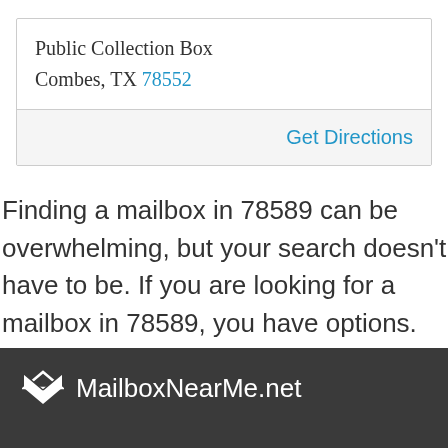Public Collection Box
Combes, TX 78552
Get Directions
Finding a mailbox in 78589 can be overwhelming, but your search doesn't have to be. If you are looking for a mailbox in 78589, you have options.
MailboxNearMe.net